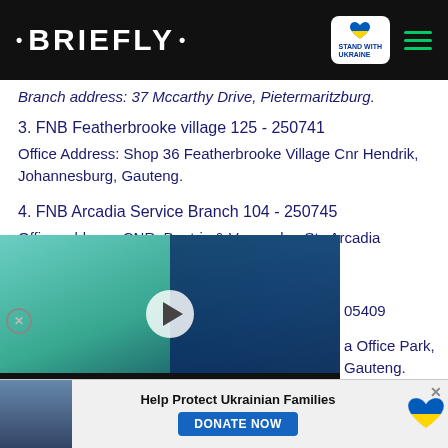BRIEFLY | Stand with Ukraine
Branch address: 37 Mccarthy Drive, Pietermaritzburg.
3. FNB Featherbrooke village 125 - 250741
Office Address: Shop 36 Featherbrooke Village Cnr Hendrik, Johannesburg, Gauteng.
4. FNB Arcadia Service Branch 104 - 250745
Office address: CNR. Beatrix & Vermeulen Sts Arcadia Gauteng.
05409
a Office Park, Gauteng.
[Figure (screenshot): Video overlay showing two people, with play button and caption 'DID HE DATE A MINOR?']
[Figure (infographic): Ukraine donation banner: 'Help Protect Ukrainian Families' with DONATE NOW button and Ukrainian flag heart icon]